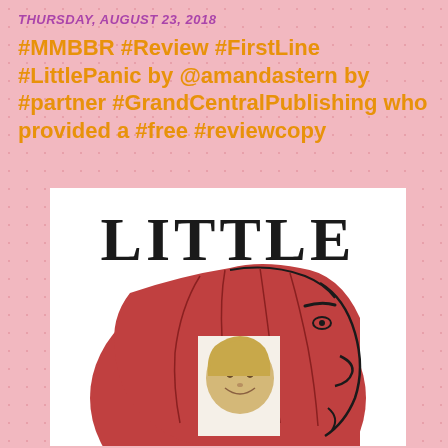THURSDAY, AUGUST 23, 2018
#MMBBR #Review #FirstLine #LittlePanic by @amandastern by #partner #GrandCentralPublishing who provided a #free #reviewcopy
[Figure (photo): Book cover of 'Little Panic' showing a large red-haired woman's head in profile with a small child's head visible inside it, rendered in an illustration style.]